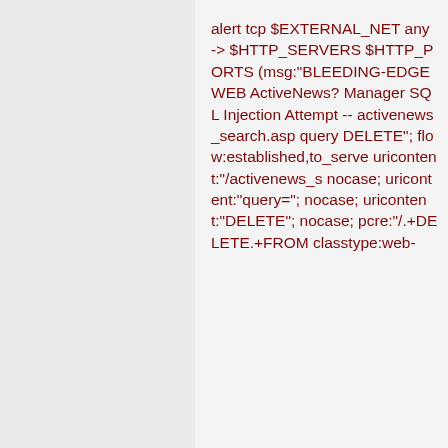alert tcp $EXTERNAL_NET any -> $HTTP_SERVERS $HTTP_PORTS (msg:"BLEEDING-EDGE WEB ActiveNews? Manager SQL Injection Attempt -- activenews_search.asp query DELETE"; flow:established,to_server; uricontent:"/activenews_s nocase; uricontent:"query="; nocase; uricontent:"DELETE"; nocase; pcre:"/.+DELETE.+FROM classtype:web-